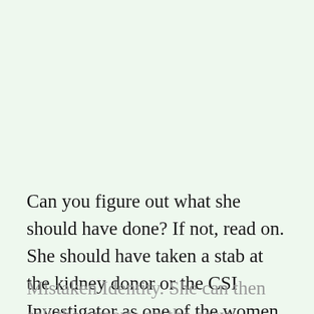Can you figure out what she should have done? If not, read on. She should have taken a stab at the kidney donor or the CSI Investigator as one of the women. Even if she gets it wrong, she just loses the
Mistaken Identity. She can then ask the experts on the easy alligator wrestler